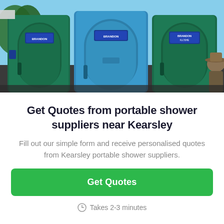[Figure (photo): Three portable toilet/shower units in a row — two dark green units flanking one blue unit — outdoors with blue sky background and a person wearing a hat visible on the right edge.]
Get Quotes from portable shower suppliers near Kearsley
Fill out our simple form and receive personalised quotes from Kearsley portable shower suppliers.
Get Quotes
Takes 2-3 minutes